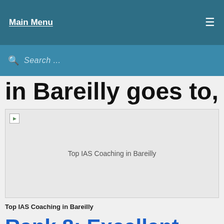Main Menu
Search ...
in Bareilly goes to,
[Figure (photo): Top IAS Coaching in Bareilly - image placeholder with broken image icon]
Top IAS Coaching in Bareilly
Rank 8: Excellent